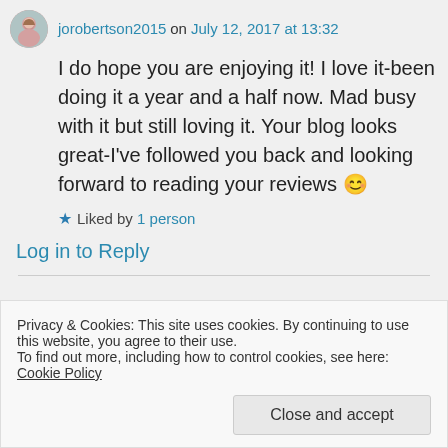jorobertson2015 on July 12, 2017 at 13:32
I do hope you are enjoying it! I love it-been doing it a year and a half now. Mad busy with it but still loving it. Your blog looks great-I've followed you back and looking forward to reading your reviews 😊
★ Liked by 1 person
Log in to Reply
Privacy & Cookies: This site uses cookies. By continuing to use this website, you agree to their use.
To find out more, including how to control cookies, see here: Cookie Policy